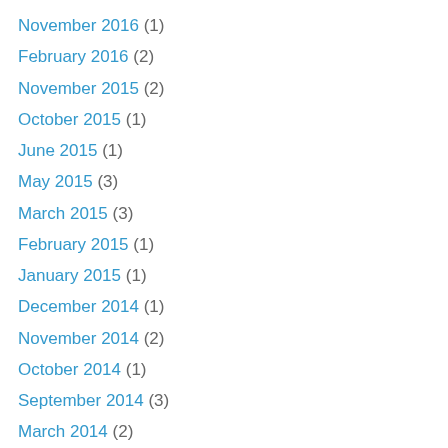November 2016 (1)
February 2016 (2)
November 2015 (2)
October 2015 (1)
June 2015 (1)
May 2015 (3)
March 2015 (3)
February 2015 (1)
January 2015 (1)
December 2014 (1)
November 2014 (2)
October 2014 (1)
September 2014 (3)
March 2014 (2)
January 2014 (1)
December 2013 (4)
August 2013 (5)
July 2013 (1)
June 2013 (1)
May 2013 (2)